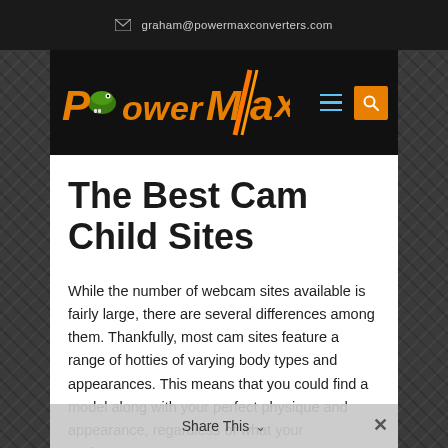graham@powermaxconverters.com
[Figure (logo): PowerMax logo with orange stylized text and lightning bolt slash, on dark background with hamburger menu and orange search button]
The Best Cam Child Sites
While the number of webcam sites available is fairly large, there are several differences among them. Thankfully, most cam sites feature a range of hotties of varying body types and appearances. This means that you could find a model along with your perfect physique and appearance, regardless of what your preferences
Share This